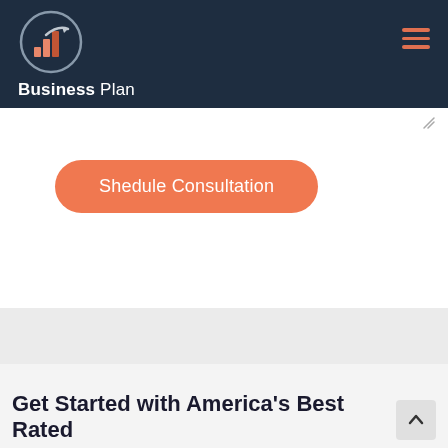Business Plan
[Figure (logo): Business Plan logo with bar chart and arrow icon in a circular frame, on dark navy background with hamburger menu icon on the right]
Shedule Consultation
Get Started with America's Best Rated